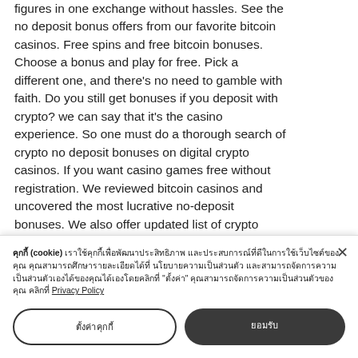figures in one exchange without hassles. See the no deposit bonus offers from our favorite bitcoin casinos. Free spins and free bitcoin bonuses. Choose a bonus and play for free. Pick a different one, and there's no need to gamble with faith. Do you still get bonuses if you deposit with crypto? we can say that it's the casino experience. So one must do a thorough search of crypto no deposit bonuses on digital crypto casinos. If you want casino games free without registration. We reviewed bitcoin casinos and uncovered the most lucrative no-deposit bonuses. We also offer updated list of crypto casinos offering free spins. Bitcoin casino
คุกกี้ (cookie) เราใช้คุกกี้เพื่อพัฒนาประสิทธิภาพ และประสบการณ์ที่ดีในการใช้เว็บไซต์ของคุณ คุณสามารถศึกษารายละเอียดได้ที่ Privacy Policy